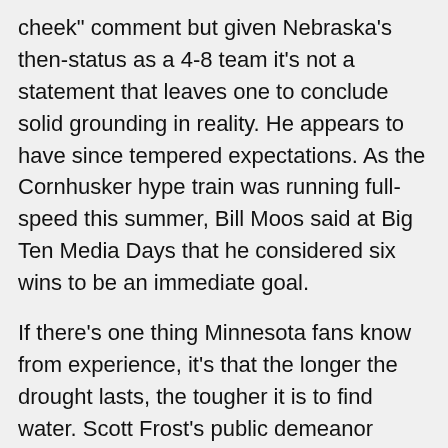cheek" comment but given Nebraska's then-status as a 4-8 team it's not a statement that leaves one to conclude solid grounding in reality. He appears to have since tempered expectations. As the Cornhusker hype train was running full-speed this summer, Bill Moos said at Big Ten Media Days that he considered six wins to be an immediate goal.
If there's one thing Minnesota fans know from experience, it's that the longer the drought lasts, the tougher it is to find water. Scott Frost's public demeanor following his recent losses has seemed a lot more Salem or, dare I say, Tubby Smith than anything else. It's important to hold players accountable; tough conversations and hard truths are part of that, but it's fair to question the true motivational value of doing that in such a public fashion, especially when it keeps getting the same results.  I'd like to think that the public insinuation that